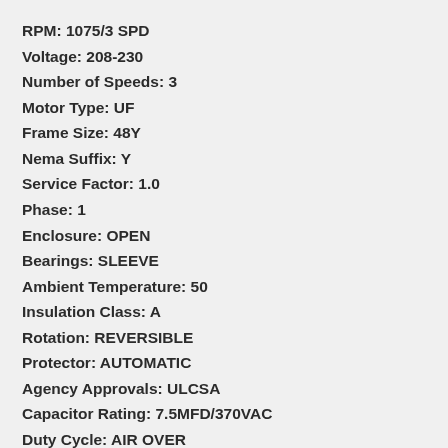RPM: 1075/3 SPD
Voltage: 208-230
Number of Speeds: 3
Motor Type: UF
Frame Size: 48Y
Nema Suffix: Y
Service Factor: 1.0
Phase: 1
Enclosure: OPEN
Bearings: SLEEVE
Ambient Temperature: 50
Insulation Class: A
Rotation: REVERSIBLE
Protector: AUTOMATIC
Agency Approvals: ULCSA
Capacitor Rating: 7.5MFD/370VAC
Duty Cycle: AIR OVER